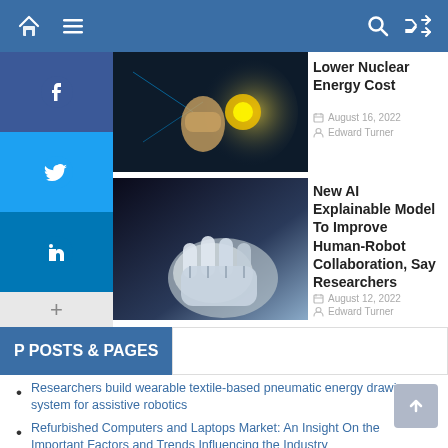Navigation bar with home, menu, search, shuffle icons
Lower Nuclear Energy Cost
August 16, 2022   Edward Turner
New AI Explainable Model To Improve Human-Robot Collaboration, Say Researchers
August 12, 2022   Edward Turner
P POSTS & PAGES
Researchers build wearable textile-based pneumatic energy drawing system for assistive robotics
Refurbished Computers and Laptops Market: An Insight On the Important Factors and Trends Influencing the Industry
ML algorithm predicts to obtain most of electric vehicle